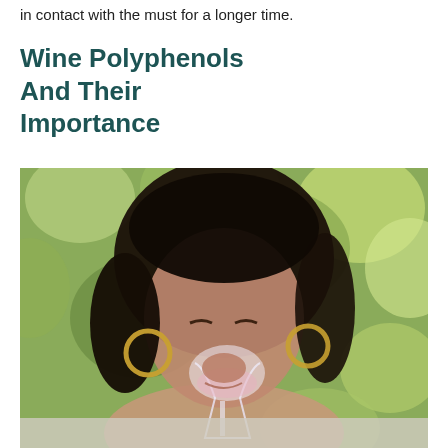in contact with the must for a longer time.
Wine Polyphenols And Their Importance
[Figure (photo): A woman with dark hair wearing gold hoop earrings and a pink top, smiling while drinking from a wine glass, with a blurred green bokeh background outdoors.]